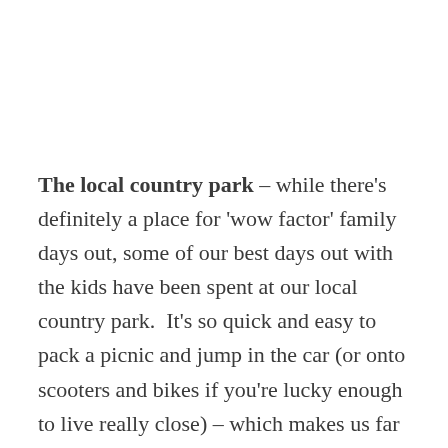The local country park – while there's definitely a place for 'wow factor' family days out, some of our best days out with the kids have been spent at our local country park.  It's so quick and easy to pack a picnic and jump in the car (or onto scooters and bikes if you're lucky enough to live really close) – which makes us far more likely to head there at short notice. Country parks usually have everything you need for a great day outdoors, and plenty to keep all ages of kids busy.  Our local park has acres of grass, woodland walks, a sensory trail, a lake and an